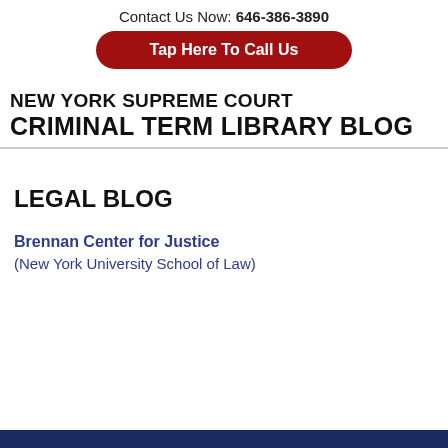Contact Us Now: 646-386-3890
Tap Here To Call Us
NEW YORK SUPREME COURT CRIMINAL TERM LIBRARY BLOG
LEGAL BLOG
Brennan Center for Justice
(New York University School of Law)